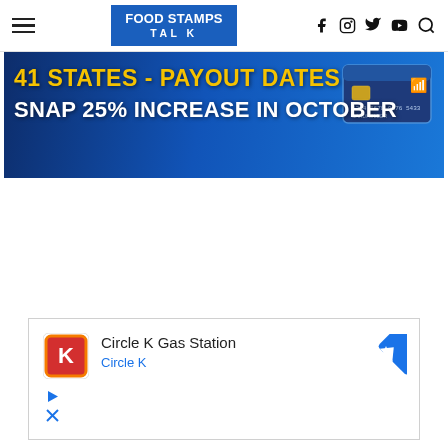FOOD STAMPS TALK — Navigation bar with hamburger menu, logo, and social icons (Facebook, Instagram, Twitter, YouTube, Search)
[Figure (infographic): Banner advertisement: '41 STATES - PAYOUT DATES / SNAP 25% INCREASE IN OCTOBER' in yellow and white bold text on a blue background with a credit card image on the right side.]
[Figure (infographic): Advertisement for Circle K Gas Station showing the Circle K logo, text 'Circle K Gas Station' and 'Circle K', and a blue navigation/directions icon on the right. Ad controls (play and close buttons) at bottom left.]